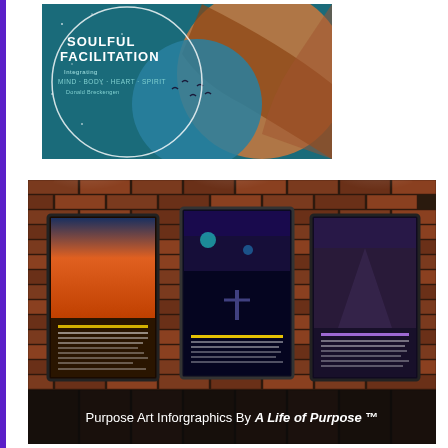[Figure (illustration): Soulful Facilitation book/course cover image showing overlapping circular designs with teal/ocean background and warm copper/brown swirling shapes with birds, text reads 'SOULFUL FACILITATION Integrating MIND BODY HEART SPIRIT']
[Figure (illustration): Purpose Art Infographics by A Life of Purpose TM - three framed posters displayed on a brick wall under spotlights. Left poster has sunset/orange tones, middle poster has blue/dark tones with anchors, right poster has purple/grey tones. Text at bottom reads 'Purpose Art Inforgraphics By A Life of Purpose TM']